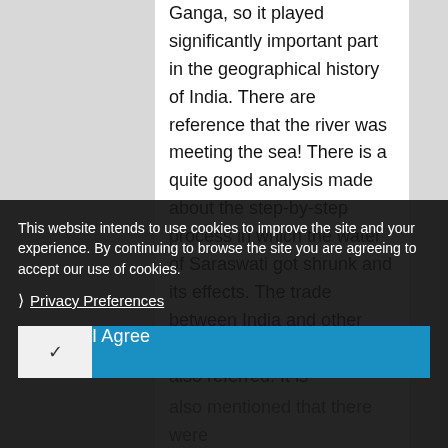Ganga, so it played significantly important part in the geographical history of India. There are reference that the river was meeting the sea! There is a quite good analysis made about the step-by-step process in which the water of Saraswati got shrunk and its effects. The trade between India and other countries and continents is also referred. It is also mentioned that there were ... import. The book raises the possibility of importance of keen note ... The above ... demoting casts as a practice – is a
This website intends to use cookies to improve the site and your experience. By continuing to browse the site you are agreeing to accept our use of cookies.
Privacy Preferences
I Agree